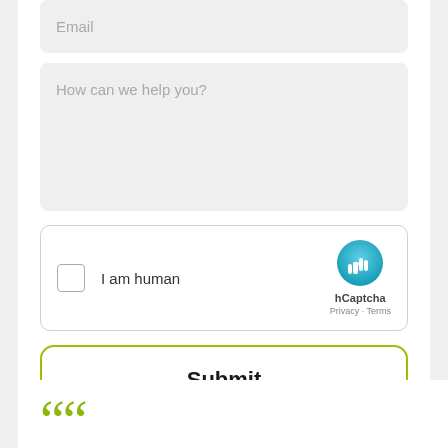Email
How can we help you?
[Figure (screenshot): hCaptcha widget with checkbox labeled 'I am human', hCaptcha logo, and Privacy - Terms links]
Submit
““